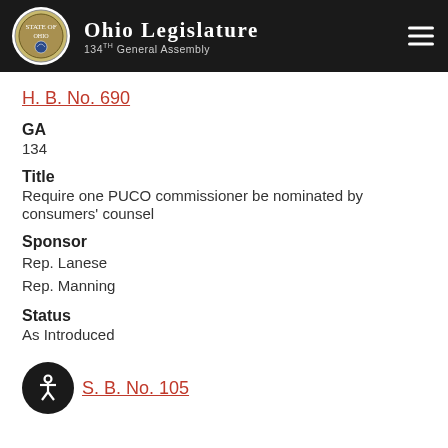Ohio Legislature 134th General Assembly
H. B. No. 690
GA
134
Title
Require one PUCO commissioner be nominated by consumers' counsel
Sponsor
Rep. Lanese
Rep. Manning
Status
As Introduced
S. B. No. 105